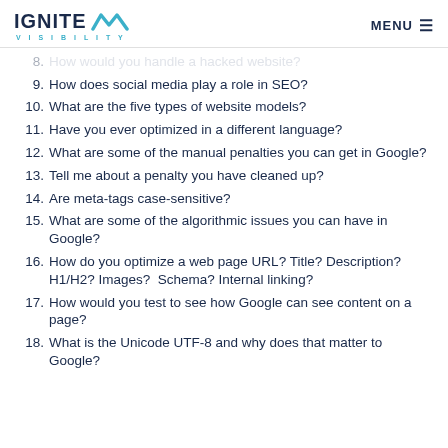IGNITE VISIBILITY | MENU
8. How would you handle a hacked website?
9. How does social media play a role in SEO?
10. What are the five types of website models?
11. Have you ever optimized in a different language?
12. What are some of the manual penalties you can get in Google?
13. Tell me about a penalty you have cleaned up?
14. Are meta-tags case-sensitive?
15. What are some of the algorithmic issues you can have in Google?
16. How do you optimize a web page URL? Title? Description? H1/H2? Images? Schema? Internal linking?
17. How would you test to see how Google can see content on a page?
18. What is the Unicode UTF-8 and why does that matter to Google?